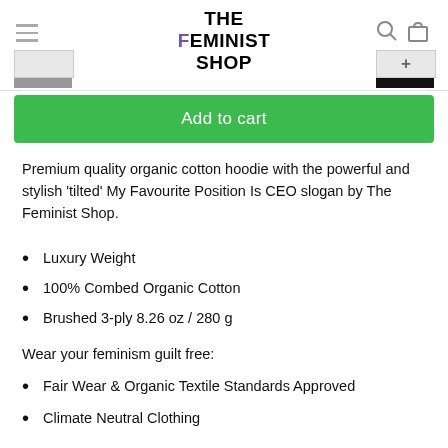THE FEMINIST SHOP
[Figure (screenshot): Add to cart green button]
Premium quality organic cotton hoodie with the powerful and stylish 'tilted' My Favourite Position Is CEO slogan by The Feminist Shop.
Luxury Weight
100% Combed Organic Cotton
Brushed 3-ply 8.26 oz / 280 g
Wear your feminism guilt free:
Fair Wear & Organic Textile Standards Approved
Climate Neutral Clothing